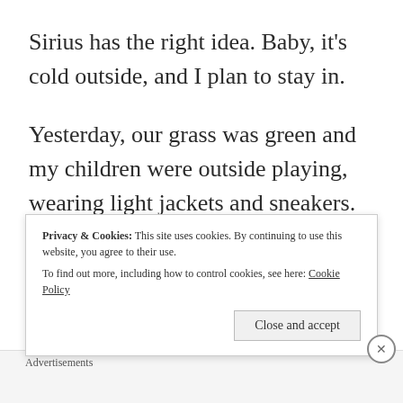Sirius has the right idea. Baby, it’s cold outside, and I plan to stay in.
Yesterday, our grass was green and my children were outside playing, wearing light jackets and sneakers. Before the sun set, we dutifully scoured the yard
Privacy & Cookies: This site uses cookies. By continuing to use this website, you agree to their use.
To find out more, including how to control cookies, see here: Cookie Policy
Close and accept
Advertisements